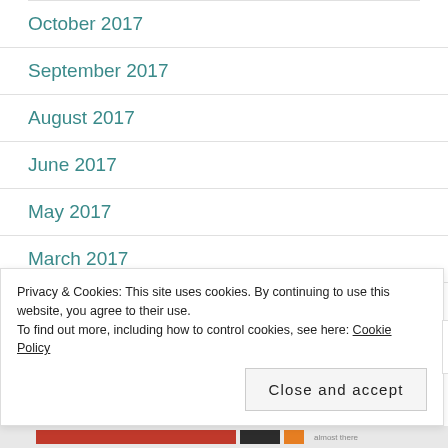October 2017
September 2017
August 2017
June 2017
May 2017
March 2017
February 2017
Privacy & Cookies: This site uses cookies. By continuing to use this website, you agree to their use.
To find out more, including how to control cookies, see here: Cookie Policy
Close and accept